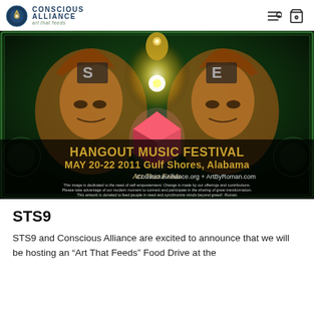Conscious Alliance — art that feeds
[Figure (illustration): Festival poster artwork for Hangout Music Festival May 20-22 2011 Gulf Shores, Alabama. Art That Feeds — ConsciousAlliance.org + ArtByRoman.com. Psychedelic illustration with two mirrored faces and a glowing geometric cube center, on a dark green ornate background with gold text.]
STS9
STS9 and Conscious Alliance are excited to announce that we will be hosting an “Art That Feeds” Food Drive at the